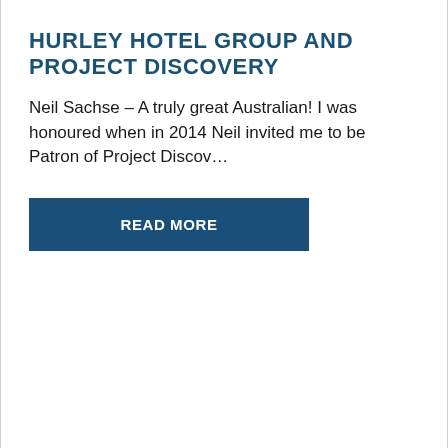HURLEY HOTEL GROUP AND PROJECT DISCOVERY
Neil Sachse – A truly great Australian! I was honoured when in 2014 Neil invited me to be Patron of Project Discov…
READ MORE